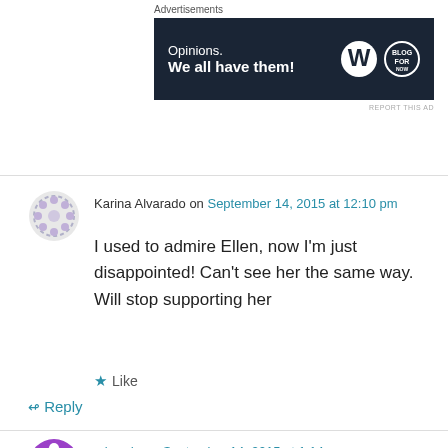Advertisements
[Figure (screenshot): WordPress advertisement banner with dark navy background. Text reads 'Opinions. We all have them!' with WordPress W logo and another circular blog logo on the right.]
REPORT THIS AD
Karina Alvarado on September 14, 2015 at 12:10 pm
I used to admire Ellen, now I'm just disappointed! Can't see her the same way. Will stop supporting her
Like
Reply
miranda on September 14, 2015 at 1:14 pm
is all about $$$$$ Ellen?,, 😕
Like